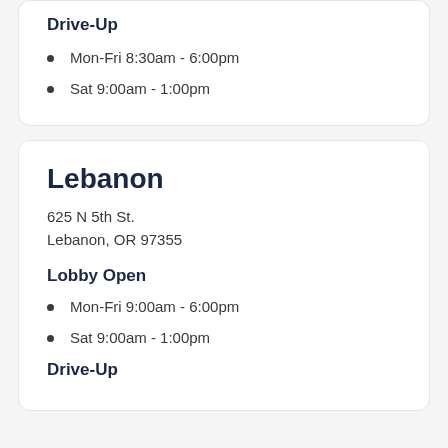Drive-Up
Mon-Fri 8:30am - 6:00pm
Sat 9:00am - 1:00pm
Lebanon
625 N 5th St.
Lebanon, OR 97355
Lobby Open
Mon-Fri 9:00am - 6:00pm
Sat 9:00am - 1:00pm
Drive-Up